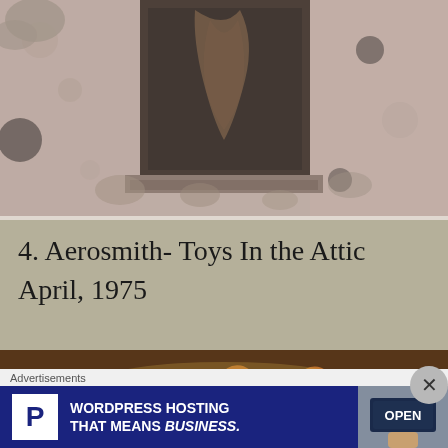[Figure (photo): Close-up photo of a stone or concrete wall with a dark rectangular opening or niche, with organic/plant matter visible, muted pinkish-grey tones]
4. Aerosmith- Toys In the Attic April, 1975
[Figure (photo): Partial photo showing what appears to be food items (curly/fried items) on a surface with dark brown background]
Advertisements
[Figure (screenshot): Advertisement banner for WordPress Hosting with blue background, white P logo box, text 'WORDPRESS HOSTING THAT MEANS BUSINESS.' and an OPEN sign photo on the right]